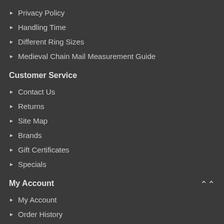Privacy Policy
Handling Time
Different Ring Sizes
Medieval Chain Mail Measurement Guide
Customer Service
Contact Us
Returns
Site Map
Brands
Gift Certificates
Specials
My Account
My Account
Order History
Wish List
Newsletter
Affiliate
Contact Info.